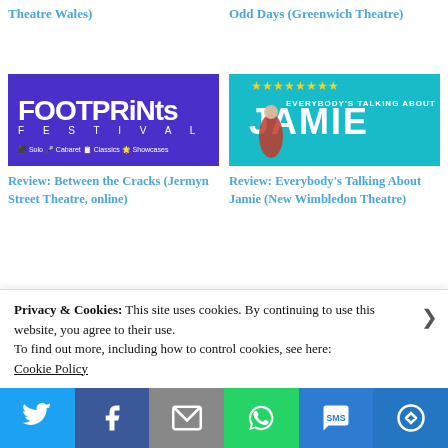Theatre Wales)
Odd Days (Greenwich Theatre)
[Figure (photo): Footprints Festival promotional image with purple background showing 'FOOTPRiNts FESTIVAL' text and category icons]
[Figure (photo): Everybody's Talking About Jamie promotional poster with teal background, star ratings, and cast image]
Review: Between the Cracks (Jermyn Street Theatre, online)
Review: Everybody's Talking About Jamie (New Wimbledon Theatre)
[Figure (photo): Photo of a man in colorful jacket against teal background]
[Figure (photo): Dark moody stage photo with chairs and misty background]
Privacy & Cookies: This site uses cookies. By continuing to use this website, you agree to their use.
To find out more, including how to control cookies, see here:
Cookie Policy